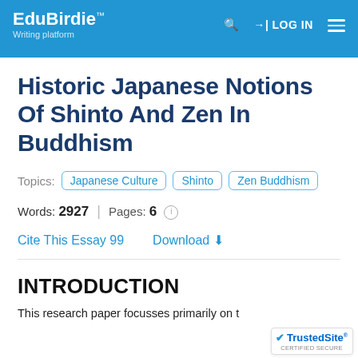EduBirdie™ Writing platform — LOG IN
Historic Japanese Notions Of Shinto And Zen In Buddhism
Topics: Japanese Culture  Shinto  Zen Buddhism
Words: 2927 | Pages: 6
Cite This Essay 99   Download
INTRODUCTION
This research paper focusses primarily on t